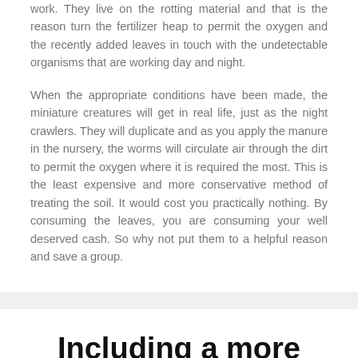work. They live on the rotting material and that is the reason turn the fertilizer heap to permit the oxygen and the recently added leaves in touch with the undetectable organisms that are working day and night.
When the appropriate conditions have been made, the miniature creatures will get in real life, just as the night crawlers. They will duplicate and as you apply the manure in the nursery, the worms will circulate air through the dirt to permit the oxygen where it is required the most. This is the least expensive and more conservative method of treating the soil. It would cost you practically nothing. By consuming the leaves, you are consuming your well deserved cash. So why not put them to a helpful reason and save a group.
Including a more